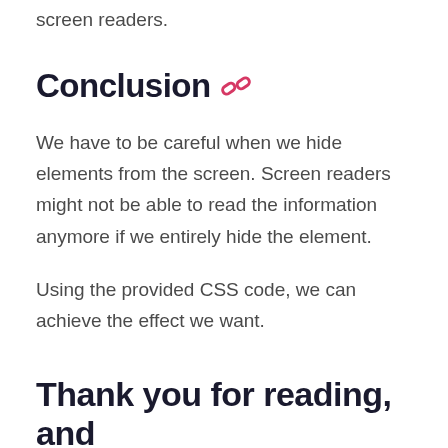screen readers.
Conclusion 🔗
We have to be careful when we hide elements from the screen. Screen readers might not be able to read the information anymore if we entirely hide the element.
Using the provided CSS code, we can achieve the effect we want.
Thank you for reading, and